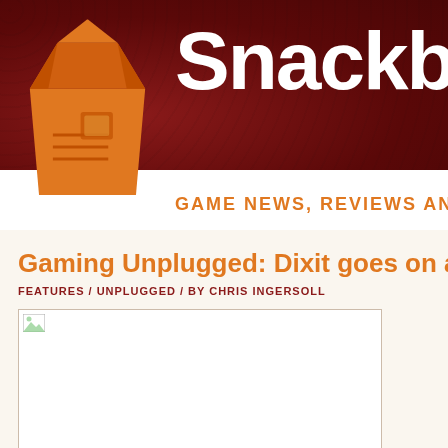[Figure (logo): Snackbar Games website header with orange milk-carton logo and site name 'Snackb...' on dark red leather-textured background, with tagline 'GAME NEWS, REVIEWS AND']
Gaming Unplugged: Dixit goes on an ep...
FEATURES / UNPLUGGED / BY CHRIS INGERSOLL
[Figure (photo): Broken/unloaded image placeholder for article illustration]